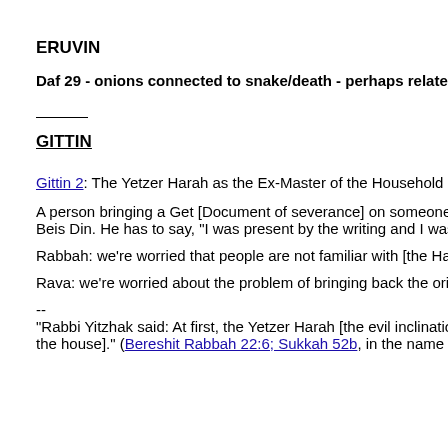ERUVIN
Daf 29 - onions connected to snake/death - perhaps related to semi
___
GITTIN
Gittin 2: The Yetzer Harah as the Ex-Master of the Household
A person bringing a Get [Document of severance] on someone else's be Beis Din. He has to say, "I was present by the writing and I was present
Rabbah: we're worried that people are not familiar with [the Halacha of]
Rava: we're worried about the problem of bringing back the original witn
--
“Rabbi Yitzhak said: At first, the Yetzer Harah [the evil inclination] is a gu the house]." (Bereshit Rabbah 22:6; Sukkah 52b, in the name of Rava)